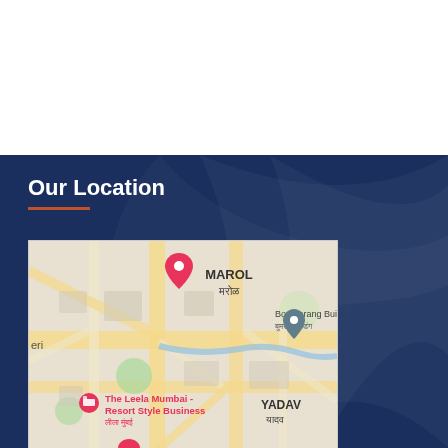Our Location
[Figure (map): Google Maps screenshot showing Marol area in Mumbai, featuring labels: MAROL/मरोळ, Boomerang Building/बुमरँग बिल्डिंग, The Leela Mumbai - Resort Style Business/लीला मुंबई, YADAV/यादव, eri, with a red location pin marker]